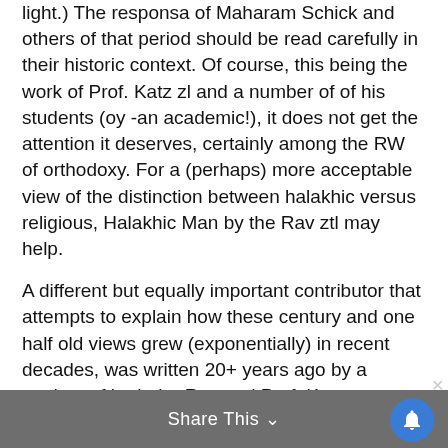light.) The responsa of Maharam Schick and others of that period should be read carefully in their historic context. Of course, this being the work of Prof. Katz zl and a number of of his students (oy -an academic!), it does not get the attention it deserves, certainly among the RW of orthodoxy. For a (perhaps) more acceptable view of the distinction between halakhic versus religious, Halakhic Man by the Rav ztl may help.
A different but equally important contributor that attempts to explain how these century and one half old views grew (exponentially) in recent decades, was written 20+ years ago by a student of both the Rav and Prof. Katz.
One impact of halakhic versus religious
Share This